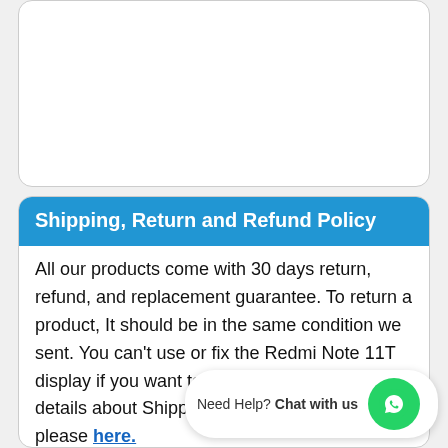[Figure (other): Empty white card with rounded corners at the top of the page]
Shipping, Return and Refund Policy
All our products come with 30 days return, refund, and replacement guarantee. To return a product, It should be in the same condition we sent. You can't use or fix the Redmi Note 11T display if you want to return it. For complete details about Shipping, Returns and Warranty, please click here.